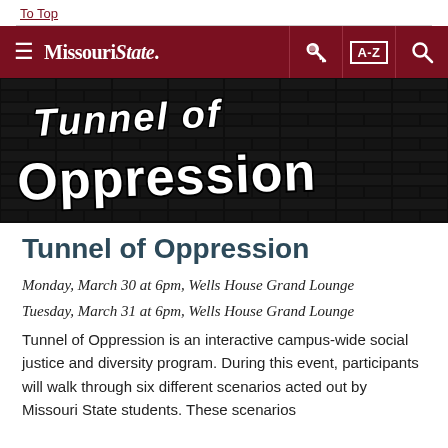To Top
[Figure (screenshot): Missouri State University navigation bar with hamburger menu, logo, key icon, A-Z index, and search icon on dark red background]
[Figure (photo): Banner image with 'Tunnel of Oppression' text in white hand-drawn lettering on a dark brick wall background]
Tunnel of Oppression
Monday, March 30 at 6pm, Wells House Grand Lounge
Tuesday, March 31 at 6pm, Wells House Grand Lounge
Tunnel of Oppression is an interactive campus-wide social justice and diversity program. During this event, participants will walk through six different scenarios acted out by Missouri State students. These scenarios